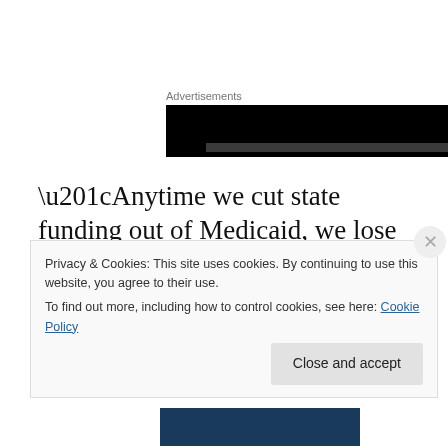Advertisements
[Figure (other): Black advertisement banner with a dark bar at the bottom]
“Anytime we cut state funding out of Medicaid, we lose federal money,” Ames says.
Public education funding—including K-12 education, public universities and community colleges — could be affected like Medicaid depending upon whether Measures
Privacy & Cookies: This site uses cookies. By continuing to use this website, you agree to their use.
To find out more, including how to control cookies, see here: Cookie Policy
Close and accept